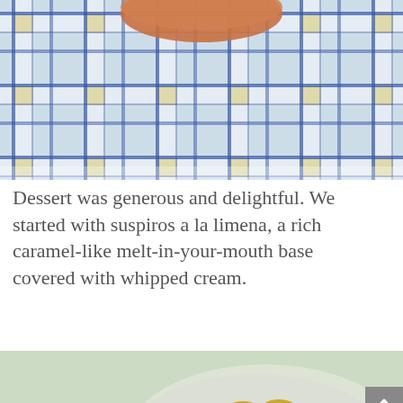[Figure (photo): Close-up of a blue and white plaid/checkered tablecloth or fabric with yellow accents, partially showing a round dessert item at top.]
Dessert was generous and delightful. We started with suspiros a la limena, a rich caramel-like melt-in-your-mouth base covered with whipped cream.
[Figure (photo): Plates of small round sandwich cookies (alfajores/suspiros) with golden tops and cream filling, arranged on white plates on a light green table. Watermark 'noodlies.com' visible.]